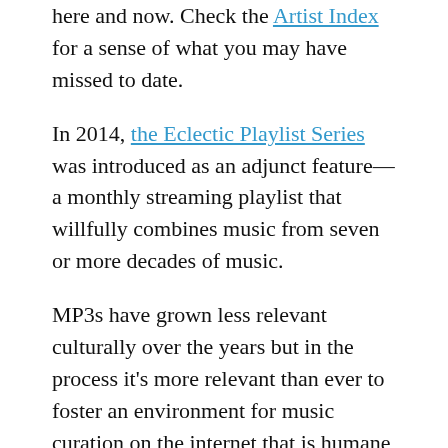here and now. Check the Artist Index for a sense of what you may have missed to date.
In 2014, the Eclectic Playlist Series was introduced as an adjunct feature—a monthly streaming playlist that willfully combines music from seven or more decades of music.
MP3s have grown less relevant culturally over the years but in the process it's more relevant than ever to foster an environment for music curation on the internet that is humane and music-focused. Fingertips is not concerned with mass quantities of followers or viral sensations, and only sporadically tiptoes into the overheated world of social media. The focus here is on humans making quality music for